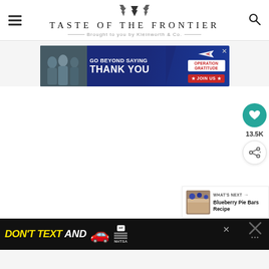TASTE OF THE FRONTIER — Brought to you by Kleinworth & Co.
[Figure (infographic): Advertisement banner: Operation Gratitude — Go Beyond Saying Thank You, Join Us]
[Figure (infographic): Social sharing sidebar with heart button showing 13.5K likes and a share button]
[Figure (infographic): What's Next widget: Blueberry Pie Bars Recipe]
[Figure (infographic): Bottom advertisement: Don't Text And Drive — NHTSA ad with car emoji]